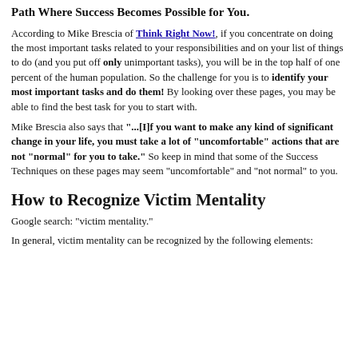Path Where Success Becomes Possible for You.
According to Mike Brescia of Think Right Now!, if you concentrate on doing the most important tasks related to your responsibilities and on your list of things to do (and you put off only unimportant tasks), you will be in the top half of one percent of the human population. So the challenge for you is to identify your most important tasks and do them! By looking over these pages, you may be able to find the best task for you to start with.
Mike Brescia also says that "...[I]f you want to make any kind of significant change in your life, you must take a lot of "uncomfortable" actions that are not "normal" for you to take." So keep in mind that some of the Success Techniques on these pages may seem "uncomfortable" and "not normal" to you.
How to Recognize Victim Mentality
Google search: "victim mentality."
In general, victim mentality can be recognized by the following elements: